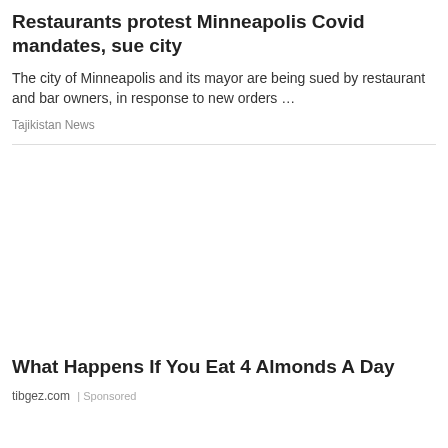Restaurants protest Minneapolis Covid mandates, sue city
The city of Minneapolis and its mayor are being sued by restaurant and bar owners, in response to new orders …
Tajikistan News
What Happens If You Eat 4 Almonds A Day
tibgez.com | Sponsored